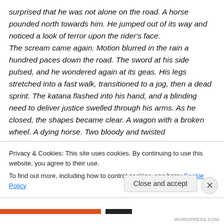surprised that he was not alone on the road. A horse pounded north towards him. He jumped out of its way and noticed a look of terror upon the rider's face. The scream came again. Motion blurred in the rain a hundred paces down the road. The sword at his side pulsed, and he wondered again at its geas. His legs stretched into a fast walk, transitioned to a jog, then a dead sprint. The katana flashed into his hand, and a blinding need to deliver justice swelled through his arms. As he closed, the shapes became clear. A wagon with a broken wheel. A dying horse. Two bloody and twisted
Privacy & Cookies: This site uses cookies. By continuing to use this website, you agree to their use.
To find out more, including how to control cookies, see here: Cookie Policy
Close and accept